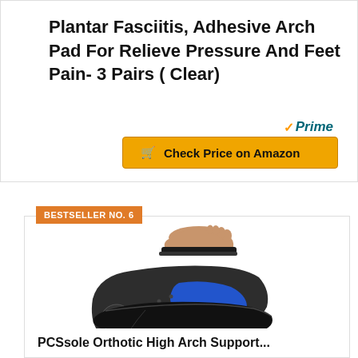Plantar Fasciitis, Adhesive Arch Pad For Relieve Pressure And Feet Pain- 3 Pairs ( Clear)
[Figure (logo): Amazon Prime badge with checkmark and 'Prime' text in teal italic]
[Figure (other): Orange 'Check Price on Amazon' button with cart icon]
BESTSELLER NO. 6
[Figure (photo): Orthotic insole product shown from three angles: side profile of foot on insole, bottom view of insole with blue arch support, and angled view of insole]
PCSsole Orthotic High Arch Support...